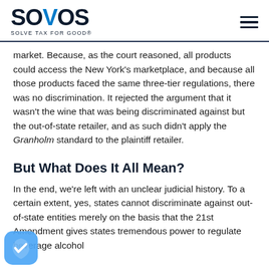SOVOS — SOLVE TAX FOR GOOD®
market. Because, as the court reasoned, all products could access the New York's marketplace, and because all those products faced the same three-tier regulations, there was no discrimination. It rejected the argument that it wasn't the wine that was being discriminated against but the out-of-state retailer, and as such didn't apply the Granholm standard to the plaintiff retailer.
But What Does It All Mean?
In the end, we're left with an unclear judicial history. To a certain extent, yes, states cannot discriminate against out-of-state entities merely on the basis that the 21st Amendment gives states tremendous power to regulate beverage alcohol